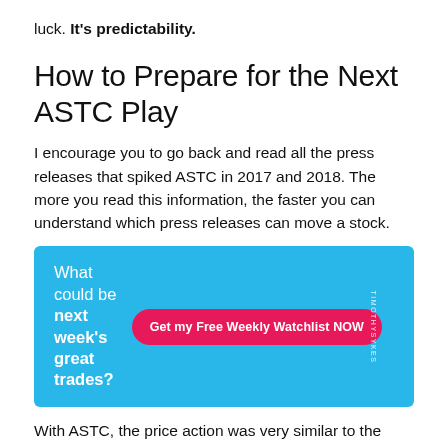luck. It's predictability.
How to Prepare for the Next ASTC Play
I encourage you to go back and read all the press releases that spiked ASTC in 2017 and 2018. The more you read this information, the faster you can understand which press releases can move a stock.
[Figure (infographic): Blue ad banner reading 'What could be next week's great trades?' with a pink/red rounded button 'Get my Free Weekly Watchlist NOW' and vertical text 'TIMOTHYSYKES' on the right side.]
With ASTC, the price action was very similar to the previous runs … The only difference was that it didn't spike right when I bought it. It spiked 30–45 minutes